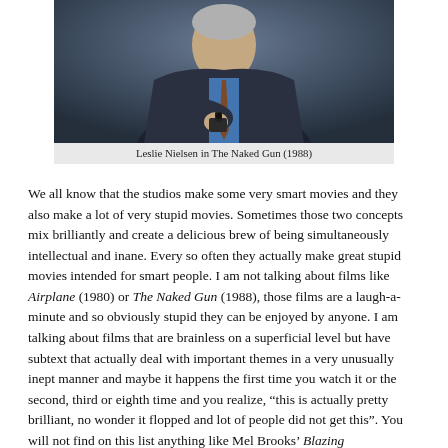[Figure (photo): Leslie Nielsen in The Naked Gun (1988), a man in a suit and tie pointing a gun toward the camera against a dark blue-grey background]
Leslie Nielsen in The Naked Gun (1988)
We all know that the studios make some very smart movies and they also make a lot of very stupid movies. Sometimes those two concepts mix brilliantly and create a delicious brew of being simultaneously intellectual and inane. Every so often they actually make great stupid movies intended for smart people. I am not talking about films like Airplane (1980) or The Naked Gun (1988), those films are a laugh-a-minute and so obviously stupid they can be enjoyed by anyone. I am talking about films that are brainless on a superficial level but have subtext that actually deal with important themes in a very unusually inept manner and maybe it happens the first time you watch it or the second, third or eighth time and you realize, “this is actually pretty brilliant, no wonder it flopped and lot of people did not get this”. You will not find on this list anything like Mel Brooks’ Blazing